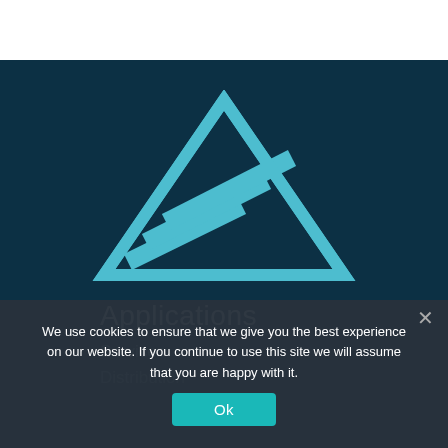[Figure (logo): Teal/cyan colored logo: a triangle outline with three diagonal parallel lines (like slashes) cutting through it from lower-left to upper-right, on dark navy background]
Applications
Services
Distribution
We use cookies to ensure that we give you the best experience on our website. If you continue to use this site we will assume that you are happy with it.
Ok